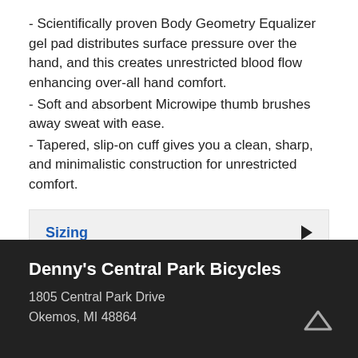- Scientifically proven Body Geometry Equalizer gel pad distributes surface pressure over the hand, and this creates unrestricted blood flow enhancing over-all hand comfort.
- Soft and absorbent Microwipe thumb brushes away sweat with ease.
- Tapered, slip-on cuff gives you a clean, sharp, and minimalistic construction for unrestricted comfort.
Sizing
Denny's Central Park Bicycles
1805 Central Park Drive
Okemos, MI 48864